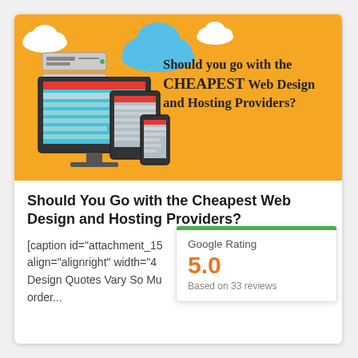[Figure (illustration): Banner image with orange background showing server, cloud icons, and responsive devices (desktop, tablet, phone). Text overlay reads: 'Should you go with the CHEAPEST Web Design and Hosting Providers?']
Should You Go with the Cheapest Web Design and Hosting Providers?
[caption id="attachment_15... align="alignright" width="4... Design Quotes Vary So Mu... order...
Google Rating
5.0
Based on 33 reviews